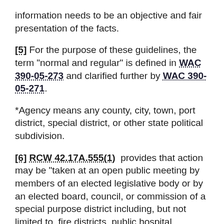information needs to be an objective and fair presentation of the facts.
[5] For the purpose of these guidelines, the term "normal and regular" is defined in WAC 390-05-273 and clarified further by WAC 390-05-271.
*Agency means any county, city, town, port district, special district, or other state political subdivision.
[6] RCW 42.17A.555(1) provides that action may be "taken at an open public meeting by members of an elected legislative body or by an elected board, council, or commission of a special purpose district including, but not limited to, fire districts, public hospital districts, library districts, park districts, port districts, public utility districts, school districts, sewer districts, and water districts, to express a collective decision, or to actually vote upon a